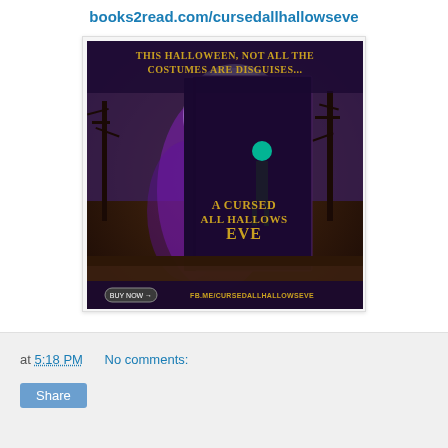books2read.com/cursedallhallowseve
[Figure (illustration): Book cover advertisement for 'A Cursed All Hallows Eve' showing a dark fantasy scene with a woman with teal hair in a dark outfit, purple magical energy, a full moon, and bare trees. Text reads: 'This Halloween, not all the costumes are disguises...' and 'FB.ME/CURSEDALLHALLOWSEVE' with a 'Buy Now' button.]
at 5:18 PM    No comments:
Share